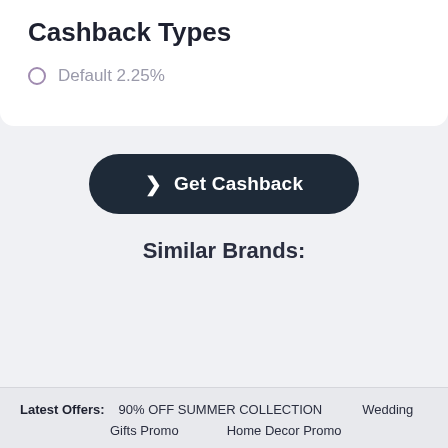Cashback Types
Default 2.25%
Get Cashback
Similar Brands:
Latest Offers: 90% OFF SUMMER COLLECTION Wedding Gifts Promo Home Decor Promo